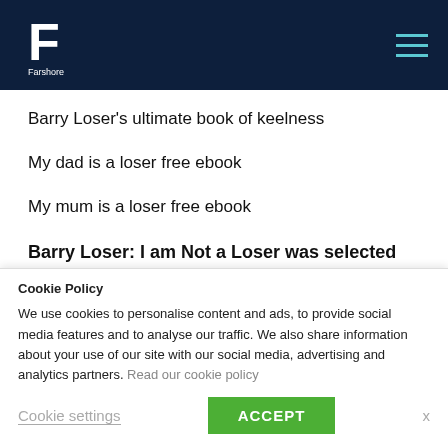Farshore logo and navigation menu
Barry Loser’s ultimate book of keelness
My dad is a loser free ebook
My mum is a loser free ebook
Barry Loser: I am Not a Loser was selected as a Tom Fletcher Book Club 2017 title.
Future Ratbov and the attack of the killer robot grannies
Cookie Policy

We use cookies to personalise content and ads, to provide social media features and to analyse our traffic. We also share information about your use of our site with our social media, advertising and analytics partners. Read our cookie policy